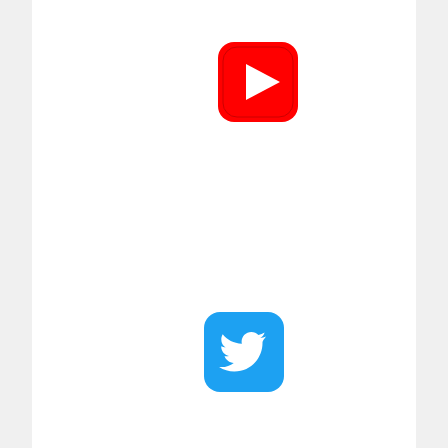[Figure (logo): YouTube logo icon - red rounded square with white play button triangle]
[Figure (logo): Twitter logo icon - blue rounded square with white bird]
[Figure (screenshot): Google Maps screenshot showing Tri-Tech Heating Inc location with nearby places: Brewed Awakenings Coffee Roasters, Taco Bell, Copy Express, Planet F, Uni Pos. Blue scroll-to-top button visible. Info popup shows 'Tri-Tech Heating Inc' and 'View larger map' link.]